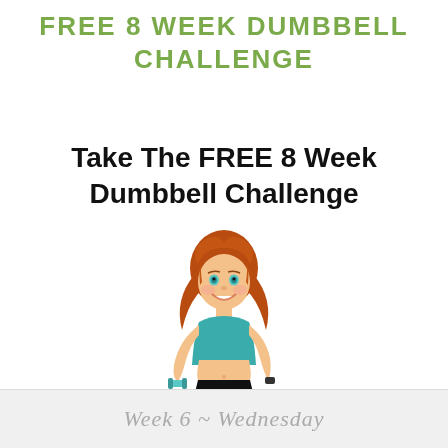FREE 8 WEEK DUMBBELL CHALLENGE
Take The FREE 8 Week Dumbbell Challenge
[Figure (illustration): Cartoon illustration of a fit woman with red hair, wearing a teal sports top and black shorts, holding a dumbbell in one hand with hands on hips, smiling.]
Week 6 ~ Wednesday